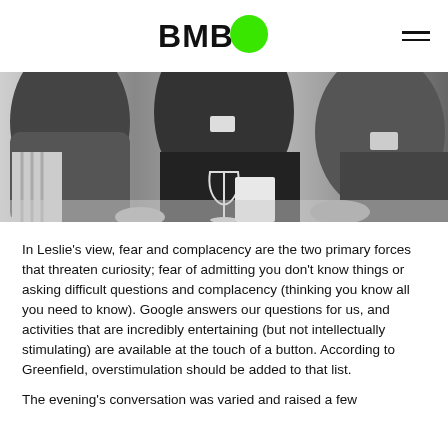BMB
[Figure (photo): Black and white photograph of people seated at a table in a meeting or dinner setting, with a wine glass visible in the center and name badges on attendees.]
In Leslie's view, fear and complacency are the two primary forces that threaten curiosity; fear of admitting you don't know things or asking difficult questions and complacency (thinking you know all you need to know). Google answers our questions for us, and activities that are incredibly entertaining (but not intellectually stimulating) are available at the touch of a button. According to Greenfield, overstimulation should be added to that list.
The evening's conversation was varied and raised a few